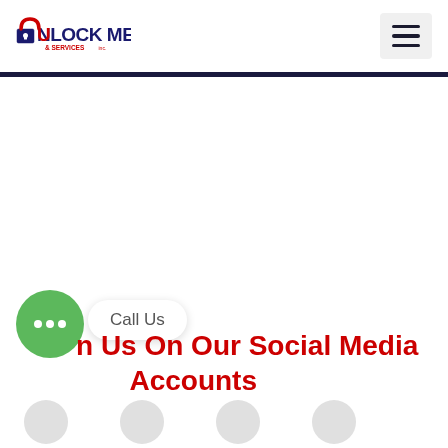Unlock Me & Services Inc. — navigation header with logo and hamburger menu
Join Us On Our Social Media Accounts